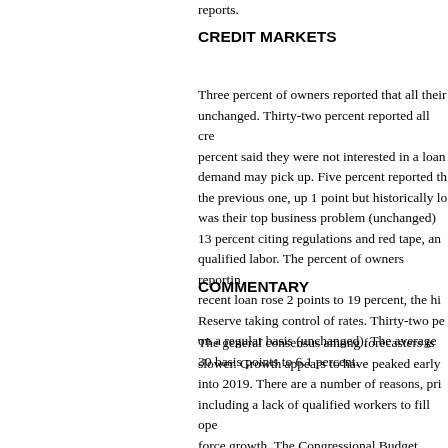reports.
CREDIT MARKETS
Three percent of owners reported that all their unchanged. Thirty-two percent reported all cre percent said they were not interested in a loan demand may pick up. Five percent reported th the previous one, up 1 point but historically lo was their top business problem (unchanged) 13 percent citing regulations and red tape, an qualified labor. The percent of owners reportin recent loan rose 2 points to 19 percent, the hi Reserve taking control of rates. Thirty-two pe on a regular basis (unchanged). The average 30 basis points to 6.1 percent.
COMMENTARY
The general consensus among forecasters is slower. Growth appears to have peaked early into 2019. There are a number of reasons, pri including a lack of qualified workers to fill ope force growth. The Congressional Budget Offic prospective growth path annually. In simple te inflation) is determined by labor force growth a